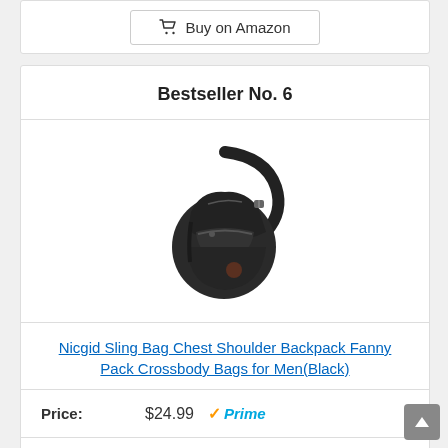[Figure (other): Buy on Amazon button (partial top card)]
Bestseller No. 6
[Figure (photo): Black sling bag / chest shoulder backpack crossbody bag product photo on white background]
Nicgid Sling Bag Chest Shoulder Backpack Fanny Pack Crossbody Bags for Men(Black)
Price: $24.99 Prime
[Figure (other): Buy on Amazon button]